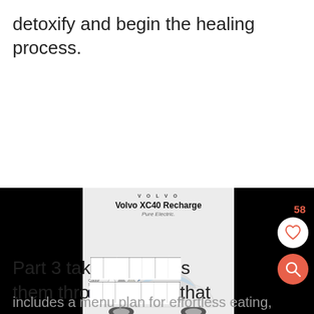detoxify and begin the healing process.
[Figure (screenshot): Volvo XC40 Recharge Pure Electric advertisement with color options and a car image, overlaid on black bars on either side. Includes like (heart) and search (magnifying glass) buttons on the right side with a count of 58.]
Part 3 tak... them thro... that
includes a menu plan for effortless eating,